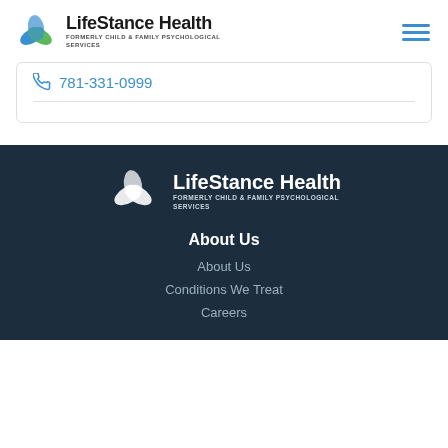[Figure (logo): LifeStance Health logo with colorful wing/leaf icon. Text: LifeStance Health, FORMERLY CHILD & FAMILY PSYCHOLOGICAL SERVICES]
781-331-0999
[Figure (logo): LifeStance Health white footer logo with white wing icon. Text: LifeStance Health, FORMERLY CHILD & FAMILY PSYCHOLOGICAL SERVICES]
About Us
About Us
Conditions We Treat
Careers